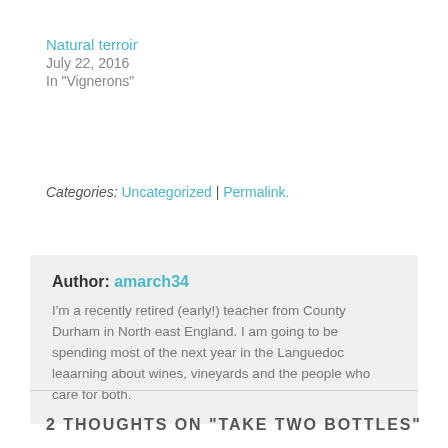Natural terroir
July 22, 2016
In "Vignerons"
Categories: Uncategorized | Permalink.
Author: amarch34
I'm a recently retired (early!) teacher from County Durham in North east England. I am going to be spending most of the next year in the Languedoc leaarning about wines, vineyards and the people who care for both.
2 THOUGHTS ON "TAKE TWO BOTTLES"